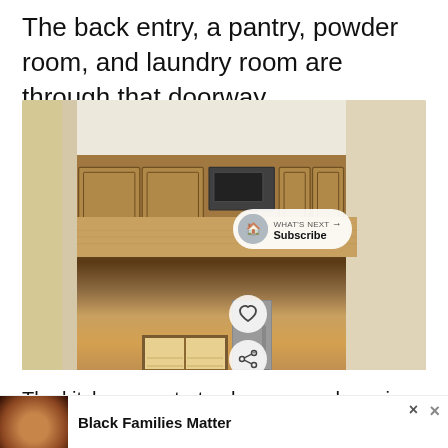The back entry, a pantry, powder room, and laundry room are through that doorway.
[Figure (photo): Interior photo of a kitchen with wood cabinets, dark granite countertops, stainless steel appliances including a microwave and stove, a window with blinds on the left, and a curtain visible on the far left. A 'What's Next - Subscribe' overlay button is visible in the lower right corner of the image, along with heart and share icon buttons.]
The kitchen countertop has an overhang in th